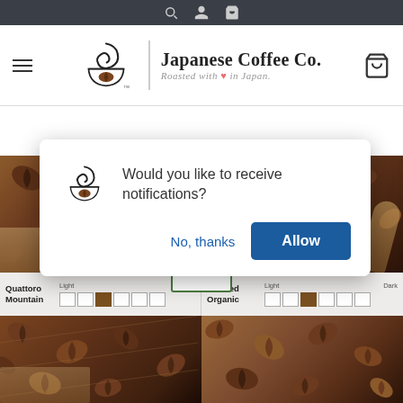Japanese Coffee Co. — Roasted with love in Japan. (website header with navigation icons)
[Figure (screenshot): Website header for Japanese Coffee Co. with hamburger menu, logo (coffee cup spiral), company name, tagline 'Roasted with heart in Japan.', and cart icon]
[Figure (screenshot): Browser push notification dialog asking 'Would you like to receive notifications?' with 'No, thanks' and 'Allow' buttons, overlaying coffee product page]
Would you like to receive notifications?
No, thanks
Allow
[Figure (photo): Coffee beans product images showing Quattoro Mountain and Certified Organic products with roast level indicators from Light to Dark]
Quattoro Mountain  Light  Dark
Certifed Organic  Light  Dark